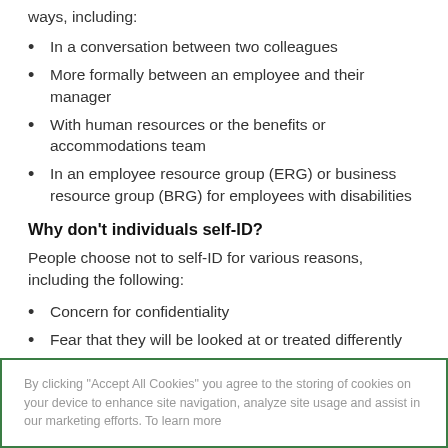ways, including:
In a conversation between two colleagues
More formally between an employee and their manager
With human resources or the benefits or accommodations team
In an employee resource group (ERG) or business resource group (BRG) for employees with disabilities
Why don't individuals self-ID?
People choose not to self-ID for various reasons, including the following:
Concern for confidentiality
Fear that they will be looked at or treated differently
Lack of understanding around the definition of disability or lack of realization that they have one
By clicking “Accept All Cookies” you agree to the storing of cookies on your device to enhance site navigation, analyze site usage and assist in our marketing efforts. To learn more